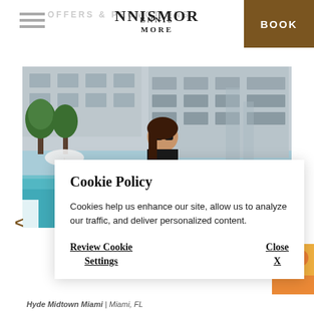OFFERS & PROMOTIONS
[Figure (logo): Ennismore logo text with stylized N]
BOOK
[Figure (photo): Woman with sunglasses smiling outdoors by a luxury hotel pool area with palm trees and modern building in background]
Cookie Policy
Cookies help us enhance our site, allow us to analyze our traffic, and deliver personalized content.
Review Cookie Settings   Close X
Hyde Midtown Miami | Miami, FL